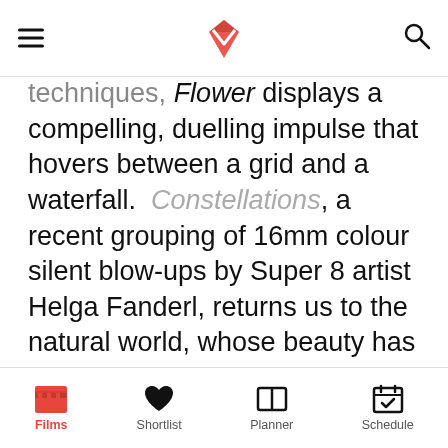[hamburger menu] [Mubi logo] [search icon]
techniques, Flower displays a compelling, duelling impulse that hovers between a grid and a waterfall. Constellations, a recent grouping of 16mm colour silent blow-ups by Super 8 artist Helga Fanderl, returns us to the natural world, whose beauty has been observed and rendered with a profound curiosity, a patient gaze and an extraordinary ability to capture visual patterns and textures. Whether following at close range the semi-circular motion of a handsome, pacing leopard, its spots evoking rhythmic patterns through Fanderl's intuitive shooting process, or closely studying a tray of glassware on a ship as the sea reflects and refracts through the crystalline shapes, the artist fully gives herself
Films   Shortlist   Planner   Schedule